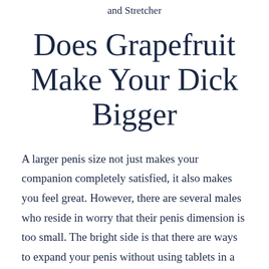and Stretcher
Does Grapefruit Make Your Dick Bigger
A larger penis size not just makes your companion completely satisfied, it also makes you feel great. However, there are several males who reside in worry that their penis dimension is too small. The bright side is that there are ways to expand your penis without using tablets in a secure as well as